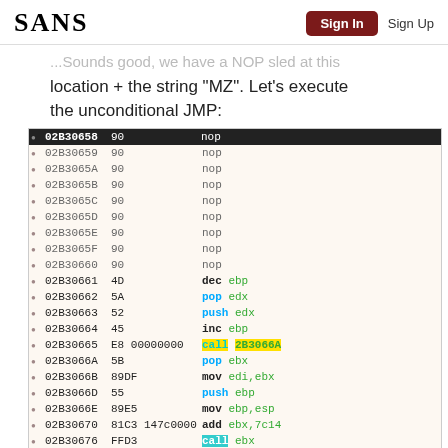SANS | Sign In | Sign Up
...Sounds good, we have a NOP sled at this location + the string "MZ". Let's execute the unconditional JMP:
[Figure (screenshot): Disassembly view showing assembly instructions from address 02B30658 to 02B30676, including NOP sled, dec ebp, pop edx, push edx, inc ebp, call 2B3066A, pop ebx, mov edi ebx, push ebp, mov ebp esp, add ebx 7c14, call ebx]
We reached our shellcode! Note the NOP instructions and also the method used to get the EIP:
| 02B30665 | E8 00000000 | call 2B3066A | call S |